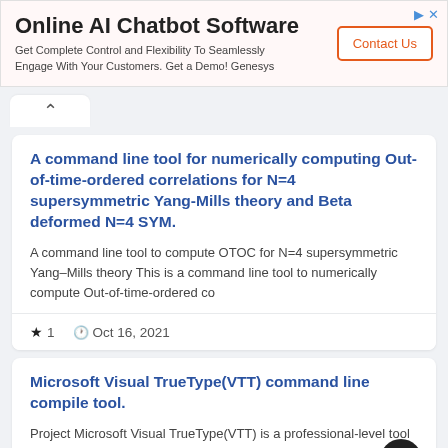[Figure (screenshot): Advertisement banner for Online AI Chatbot Software by Genesys with Contact Us button]
A command line tool for numerically computing Out-of-time-ordered correlations for N=4 supersymmetric Yang-Mills theory and Beta deformed N=4 SYM.
A command line tool to compute OTOC for N=4 supersymmetric Yang–Mills theory This is a command line tool to numerically compute Out-of-time-ordered co
★ 1   🕐 Oct 16, 2021
Microsoft Visual TrueType(VTT) command line compile tool.
Project Microsoft Visual TrueType(VTT) is a professional-level tool for graphically instructing TrueType and OpenType fonts. For details on the tool v